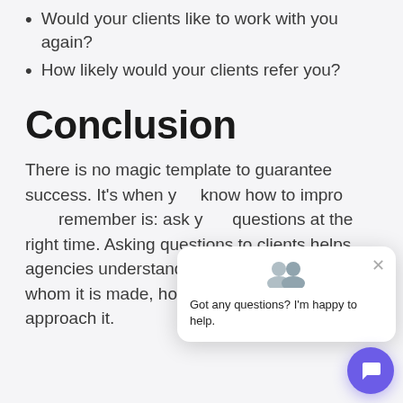Would your clients like to work with you again?
How likely would your clients refer you?
Conclusion
There is no magic template to guarantee success. It's when you know how to improve and remember is: ask your questions at the right time. Asking questions to clients helps agencies understand what to be made, for whom it is made, how to make it, and how to approach it.